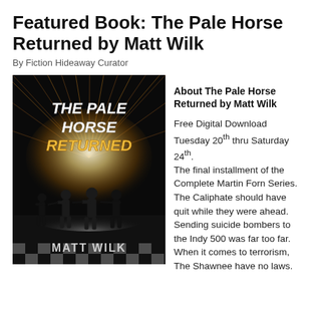Featured Book: The Pale Horse Returned by Matt Wilk
By Fiction Hideaway Curator
[Figure (illustration): Book cover for 'The Pale Horse Returned by Matt Wilk' — dark background with speed lines radiating from a bright central light, four silhouetted figures holding hands in the foreground, bold italic white/gold text 'THE PALE HORSE RETURNED' and 'MATT WILK' at the bottom.]
About The Pale Horse Returned by Matt Wilk
Free Digital Download Tuesday 20th thru Saturday 24th.
The final installment of the Complete Martin Forn Series.
The Caliphate should have quit while they were ahead. Sending suicide bombers to the Indy 500 was far too far. When it comes to terrorism, The Shawnee have no laws.